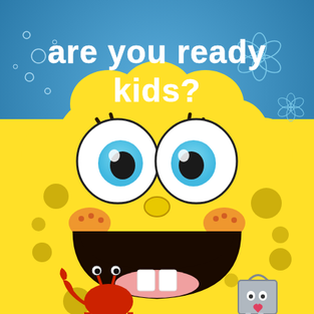[Figure (illustration): SpongeBob SquarePants cartoon illustration. The image shows SpongeBob's face close up with large white eyes with light blue irises and black pupils, a big open grin showing two white buck teeth, a yellow sponge body with dark olive/brown holes/pores, orange freckle-like cheeks, and a small yellow nose. The background at the top is a blue ocean gradient with bubbles and a faint flower outline. White bold text over the blue background reads 'are you ready kids?'. At the bottom left is a small illustration of Mr. Krabs (red crab), and at the bottom right is a small illustration of a gray metal box character (possibly a Hall Monitor badge or similar).]